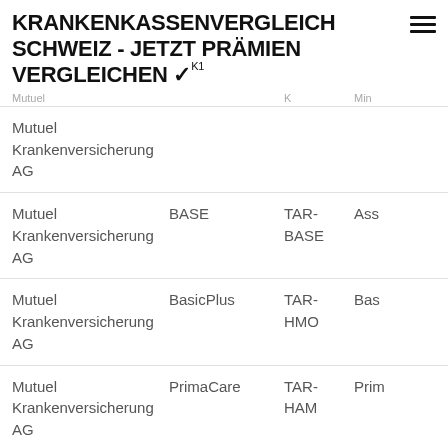KRANKENKASSENVERGLEICH SCHWEIZ - JETZT PRÄMIEN VERGLEICHEN ✓
| Mutuel | K1 | K | Min |
| --- | --- | --- | --- |
| Mutuel Krankenversicherung AG |  |  |  |
| Mutuel Krankenversicherung AG | BASE | TAR-BASE | Ass |
| Mutuel Krankenversicherung AG | BasicPlus | TAR-HMO | Bas |
| Mutuel Krankenversicherung AG | PrimaCare | TAR-HAM | Prim |